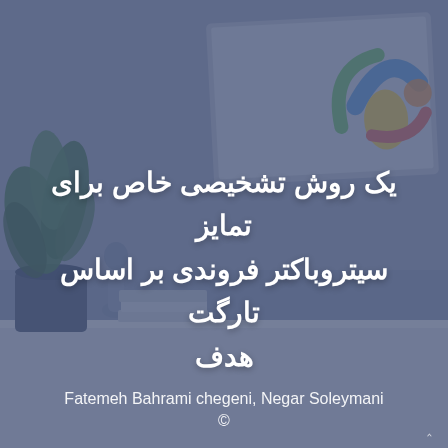[Figure (photo): Cover page background photo showing a blurred office desk scene with a potted plant, a monitor/screen with colorful logo, a small figurine, and books, overlaid with a blue-grey semi-transparent tint.]
یک روش تشخیصی خاص برای تمایز سیتروباکتر فروندی بر اساس تارگت هدف
Fatemeh Bahrami chegeni, Negar Soleymani
©
^